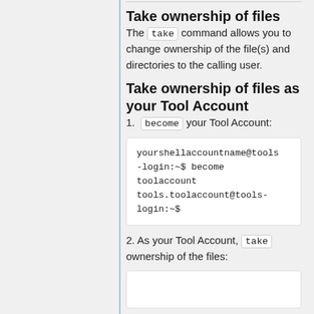Take ownership of files
The take command allows you to change ownership of the file(s) and directories to the calling user.
Take ownership of files as your Tool Account
1. become your Tool Account:
yourshellaccountname@tools-login:~$ become toolaccount
tools.toolaccount@tools-login:~$
2. As your Tool Account, take ownership of the files: